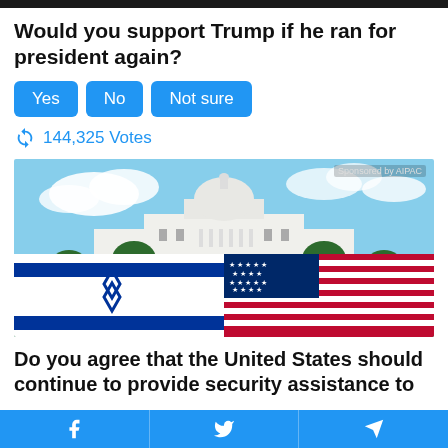Would you support Trump if he ran for president again?
Yes | No | Not sure
144,325 Votes
[Figure (photo): Photo showing Israeli and American flags held up in front of the US Capitol building with a crowd and blue sky. Sponsored by AIPAC label in top right.]
Do you agree that the United States should continue to provide security assistance to
Facebook | Twitter | Telegram share buttons